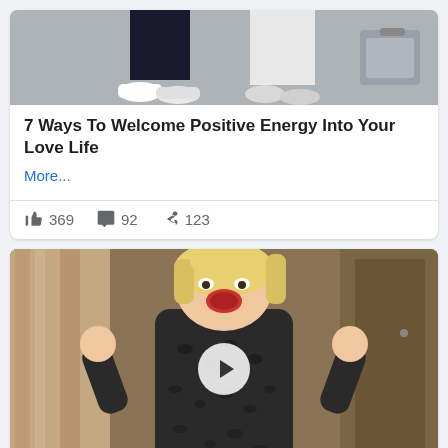[Figure (photo): Top portion of a photo showing two people's lower bodies, one in dark pants and white sneakers, another in white pants, on a gray pavement]
7 Ways To Welcome Positive Energy Into Your Love Life
More...
369 likes, 92 comments, 123 shares
[Figure (photo): A blonde woman in a black leopard-print outfit making an excited expression with fists raised, standing in a hallway. A video play button is overlaid in the center.]